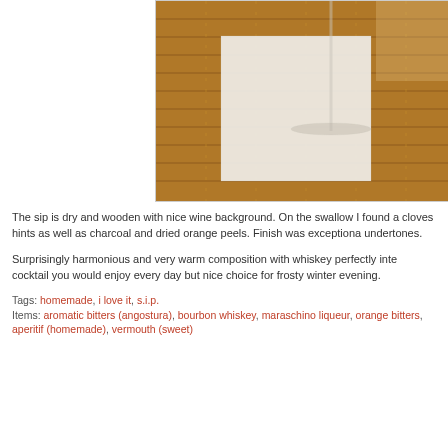[Figure (photo): A cocktail glass on a white napkin placed on a bamboo/wooden slatted surface, photographed from above and slightly to the side.]
The sip is dry and wooden with nice wine background. On the swallow I found a cloves hints as well as charcoal and dried orange peels. Finish was exceptional undertones.
Surprisingly harmonious and very warm composition with whiskey perfectly inte cocktail you would enjoy every day but nice choice for frosty winter evening.
Tags: homemade, i love it, s.i.p.
Items: aromatic bitters (angostura), bourbon whiskey, maraschino liqueur, orange bitters, aperitif (homemade), vermouth (sweet)